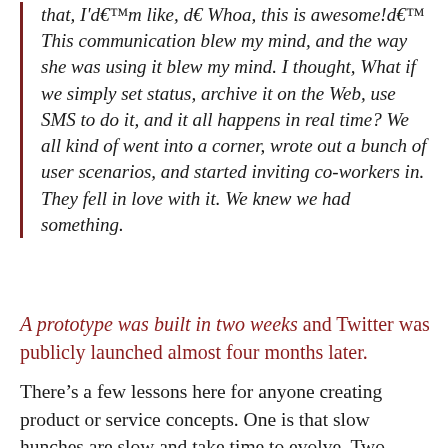that, I'm like, 'Whoa, this is awesome!' This communication blew my mind, and the way she was using it blew my mind. I thought, What if we simply set status, archive it on the Web, use SMS to do it, and it all happens in real time? We all kind of went into a corner, wrote out a bunch of user scenarios, and started inviting co-workers in. They fell in love with it. We knew we had something.
A prototype was built in two weeks and Twitter was publicly launched almost four months later.
There's a few lessons here for anyone creating product or service concepts. One is that slow hunches are slow and take time to evolve. Two, sometimes technology needs to catch up to ideas. Three, nurturing company environments like Odeo help these concepts take shape.